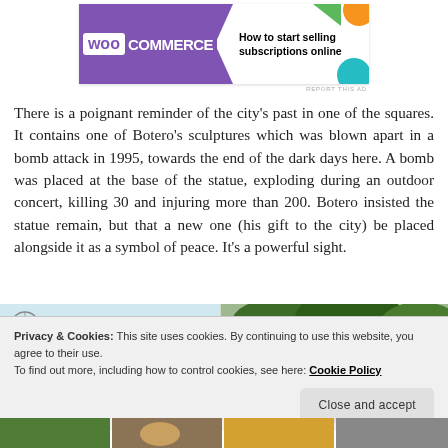[Figure (screenshot): WooCommerce advertisement banner: 'How to start selling subscriptions online' with purple WooCommerce logo on left and decorative shapes on right]
There is a poignant reminder of the city's past in one of the squares. It contains one of Botero's sculptures which was blown apart in a bomb attack in 1995, towards the end of the dark days here. A bomb was placed at the base of the statue, exploding during an outdoor concert, killing 30 and injuring more than 200. Botero insisted the statue remain, but that a new one (his gift to the city) be placed alongside it as a symbol of peace. It's a powerful sight.
[Figure (photo): Partial photograph showing trees with green foliage against sky]
Privacy & Cookies: This site uses cookies. By continuing to use this website, you agree to their use.
To find out more, including how to control cookies, see here: Cookie Policy
[Figure (photo): Bottom strip showing partial photographs]